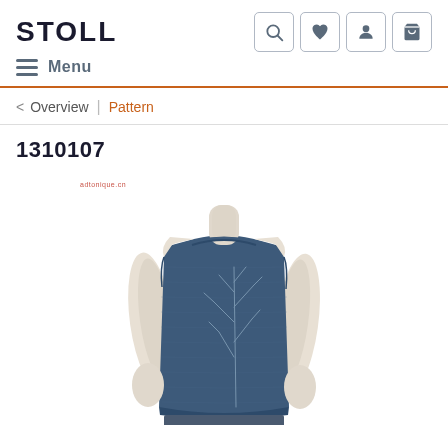STOLL
Menu
< Overview | Pattern
1310107
[Figure (photo): A mannequin wearing a navy blue sleeveless knit top with a subtle tree branch pattern on the front, displayed against a white background. The garment is a fitted tank/vest style with a round neckline.]